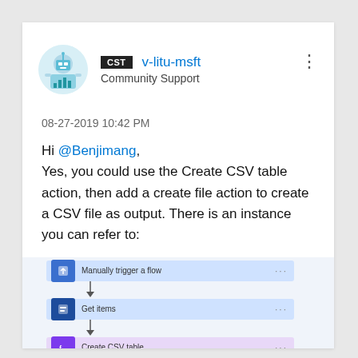[Figure (illustration): User avatar icon with teal/blue analytics dashboard illustration]
CST  v-litu-msft
Community Support
08-27-2019 10:42 PM
Hi @Benjimang,
Yes, you could use the Create CSV table action, then add a create file action to create a CSV file as output. There is an instance you can refer to:
[Figure (screenshot): Screenshot of a Power Automate flow showing steps: Manually trigger a flow, Get items, Create CSV table with From and Columns (Custom) fields and Header/Value table with Title row]